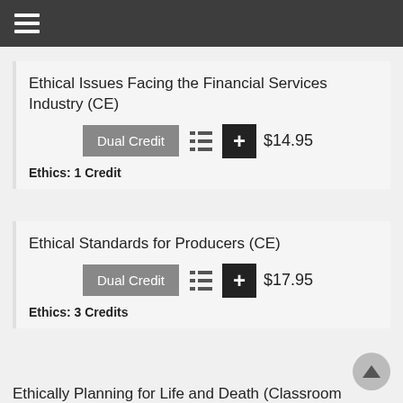≡
Ethical Issues Facing the Financial Services Industry (CE)
Dual Credit  $14.95
Ethics: 1 Credit
Ethical Standards for Producers (CE)
Dual Credit  $17.95
Ethics: 3 Credits
Ethically Planning for Life and Death (Classroom